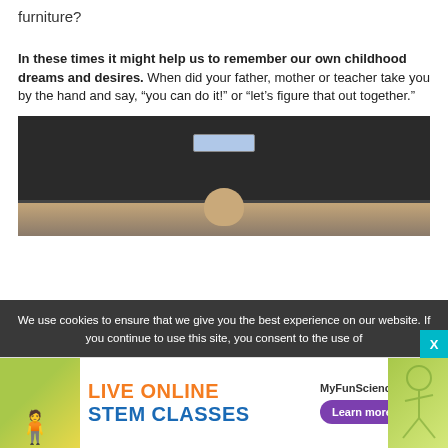furniture?
In these times it might help us to remember our own childhood dreams and desires. When did your father, mother or teacher take you by the hand and say, “you can do it!” or “let’s figure that out together.”
[Figure (photo): Photo of the back of a vehicle with a license plate, and a child's head visible at the bottom of the frame]
We use cookies to ensure that we give you the best experience on our website. If you continue to use this site, you consent to the use of
[Figure (infographic): Advertisement banner for MyFunScience.com: LIVE ONLINE STEM CLASSES with Learn more button and decorative figure]